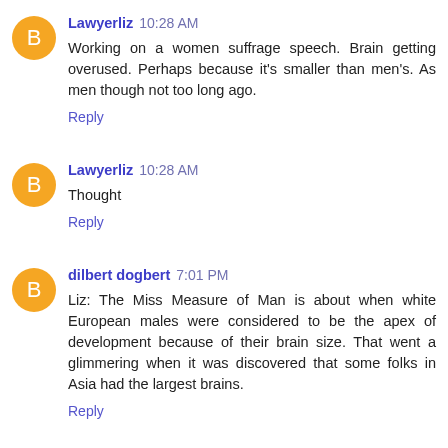Lawyerliz 10:28 AM
Working on a women suffrage speech. Brain getting overused. Perhaps because it's smaller than men's. As men though not too long ago.
Reply
Lawyerliz 10:28 AM
Thought
Reply
dilbert dogbert 7:01 PM
Liz: The Miss Measure of Man is about when white European males were considered to be the apex of development because of their brain size. That went a glimmering when it was discovered that some folks in Asia had the largest brains.
Reply